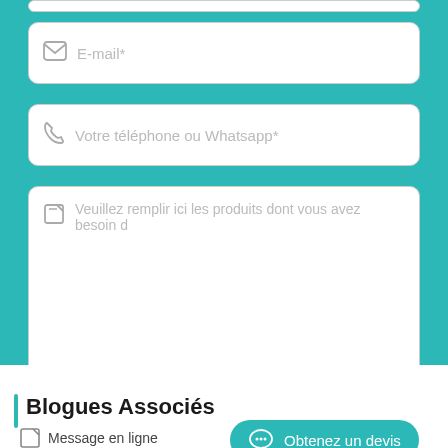[Figure (screenshot): E-mail input field with envelope icon and placeholder text 'E-mail*']
[Figure (screenshot): Phone input field with phone icon and placeholder text 'Votre téléphone ou Whatsapp*']
[Figure (screenshot): Textarea field with edit icon and placeholder text 'Veuillez remplir ici les produits dont vous avez besoin d']
[Figure (screenshot): Submit button labeled ENVOYER]
Blogues Associés
Message en ligne
Obtenez un devis